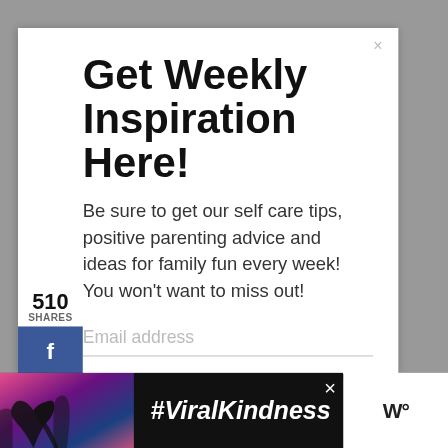Get Weekly Inspiration Here!
Be sure to get our self care tips, positive parenting advice and ideas for family fun every week! You won't want to miss out!
Email address
510
SHARES
[Figure (screenshot): Social share sidebar with Facebook (f), Twitter (bird), and Pinterest (p) buttons. Pinterest count shows 510.]
[Figure (screenshot): Teal circular heart/save button on right side]
511
[Figure (screenshot): Share icon circle button]
What are you interested in hearing
[Figure (screenshot): What's Next panel with Disney Inspired... thumbnail and label]
Self Care & Relationships
[Figure (screenshot): Advertisement banner with silhouetted hands forming a heart shape and #ViralKindness text on dark background]